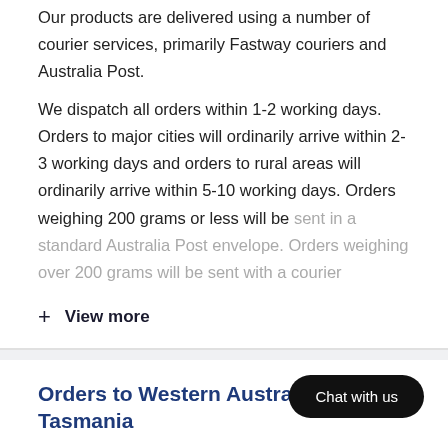Our products are delivered using a number of courier services, primarily Fastway couriers and Australia Post.
We dispatch all orders within 1-2 working days. Orders to major cities will ordinarily arrive within 2-3 working days and orders to rural areas will ordinarily arrive within 5-10 working days. Orders weighing 200 grams or less will be sent in a standard Australia Post envelope. Orders weighing over 200 grams will be sent with a courier
+ View more
Orders to Western Australia & Tasmania
Unfortunately, Australian Wheatgrass is unable to delivering to Western Australia or Tasmania.